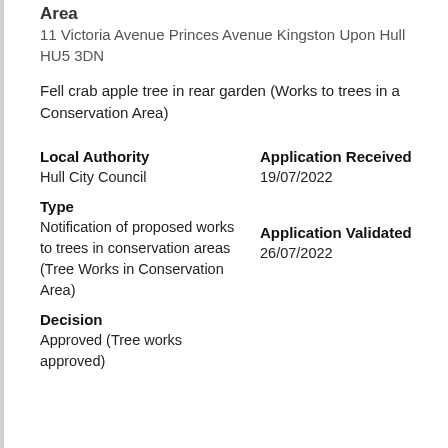Area
11 Victoria Avenue Princes Avenue Kingston Upon Hull HU5 3DN
Fell crab apple tree in rear garden (Works to trees in a Conservation Area)
Local Authority
Hull City Council
Type
Notification of proposed works to trees in conservation areas (Tree Works in Conservation Area)
Decision
Approved (Tree works approved)
Application Received
19/07/2022
Application Validated
26/07/2022